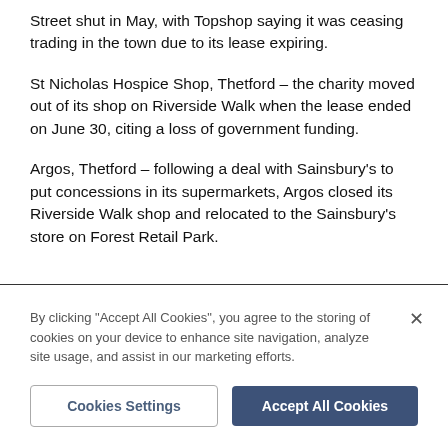Street shut in May, with Topshop saying it was ceasing trading in the town due to its lease expiring.
St Nicholas Hospice Shop, Thetford – the charity moved out of its shop on Riverside Walk when the lease ended on June 30, citing a loss of government funding.
Argos, Thetford – following a deal with Sainsbury's to put concessions in its supermarkets, Argos closed its Riverside Walk shop and relocated to the Sainsbury's store on Forest Retail Park.
By clicking "Accept All Cookies", you agree to the storing of cookies on your device to enhance site navigation, analyze site usage, and assist in our marketing efforts.
Cookies Settings
Accept All Cookies